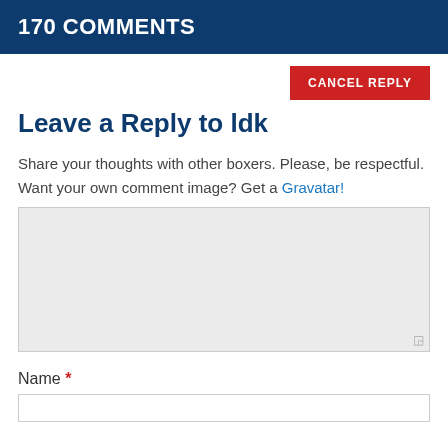170 COMMENTS
CANCEL REPLY
Leave a Reply to ldk
Share your thoughts with other boxers. Please, be respectful.
Want your own comment image? Get a Gravatar!
Name *